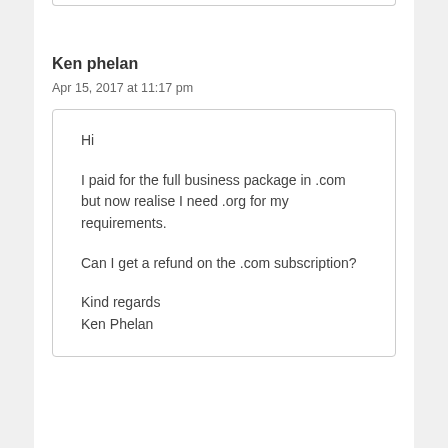Ken phelan
Apr 15, 2017 at 11:17 pm
Hi

I paid for the full business package in .com but now realise I need .org for my requirements.

Can I get a refund on the .com subscription?

Kind regards
Ken Phelan